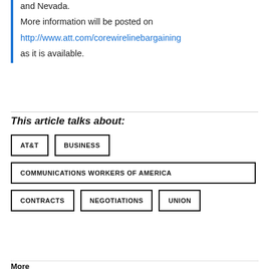and Nevada.
More information will be posted on http://www.att.com/corewirelinebargaining as it is available.
This article talks about:
AT&T  BUSINESS  COMMUNICATIONS WORKERS OF AMERICA  CONTRACTS  NEGOTIATIONS  UNION